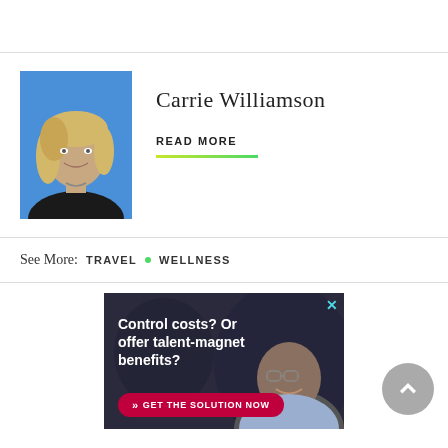[Figure (photo): Profile photo of Carrie Williamson: a woman with blonde hair and a black top, photographed against a blue background]
Carrie Williamson
READ MORE
See More: TRAVEL • WELLNESS
[Figure (photo): Advertisement: 'Control costs? Or offer talent-magnet benefits?' with a man wearing glasses smiling, and a red button reading 'GET THE SOLUTION NOW']